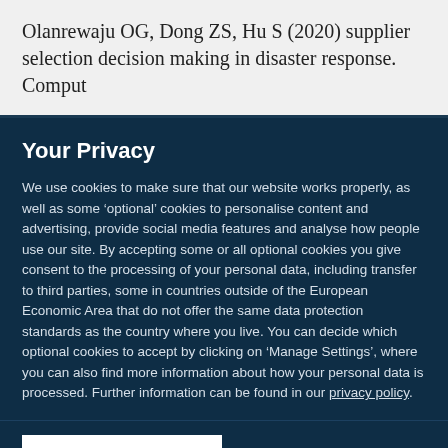Olanrewaju OG, Dong ZS, Hu S (2020) supplier selection decision making in disaster response. Comput
Your Privacy
We use cookies to make sure that our website works properly, as well as some ‘optional’ cookies to personalise content and advertising, provide social media features and analyse how people use our site. By accepting some or all optional cookies you give consent to the processing of your personal data, including transfer to third parties, some in countries outside of the European Economic Area that do not offer the same data protection standards as the country where you live. You can decide which optional cookies to accept by clicking on ‘Manage Settings’, where you can also find more information about how your personal data is processed. Further information can be found in our privacy policy.
Accept all cookies
Manage preferences